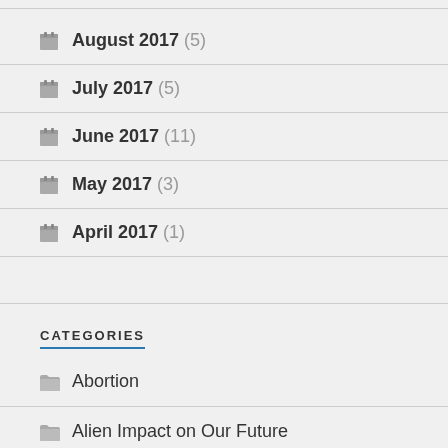August 2017 (5)
July 2017 (5)
June 2017 (11)
May 2017 (3)
April 2017 (1)
CATEGORIES
Abortion
Alien Impact on Our Future